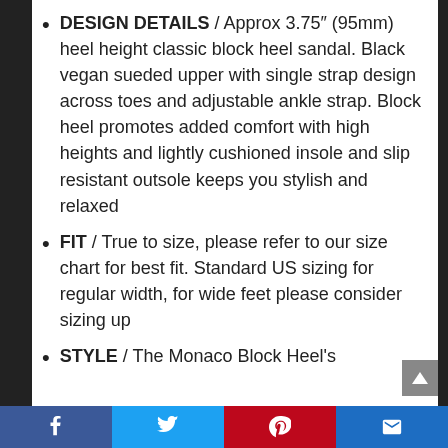DESIGN DETAILS / Approx 3.75″ (95mm) heel height classic block heel sandal. Black vegan sueded upper with single strap design across toes and adjustable ankle strap. Block heel promotes added comfort with high heights and lightly cushioned insole and slip resistant outsole keeps you stylish and relaxed
FIT / True to size, please refer to our size chart for best fit. Standard US sizing for regular width, for wide feet please consider sizing up
STYLE / The Monaco Block Heel's